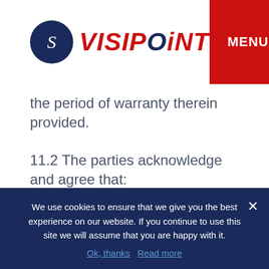VISIPOINT
the period of warranty therein provided.
11.2 The parties acknowledge and agree that:
11.2.1 the Customer shall:
(a) make a full inspection of the Qualifying Equipment upon delivery;
We use cookies to ensure that we give you the best experience on our website. If you continue to use this site we will assume that you are happy with it.
Ok, thanks   Read more